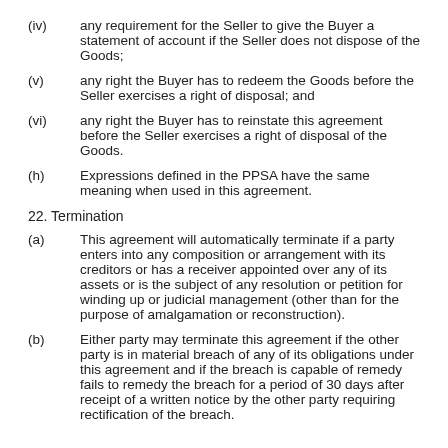(iv) any requirement for the Seller to give the Buyer a statement of account if the Seller does not dispose of the Goods;
(v) any right the Buyer has to redeem the Goods before the Seller exercises a right of disposal; and
(vi) any right the Buyer has to reinstate this agreement before the Seller exercises a right of disposal of the Goods.
(h) Expressions defined in the PPSA have the same meaning when used in this agreement.
22. Termination
(a) This agreement will automatically terminate if a party enters into any composition or arrangement with its creditors or has a receiver appointed over any of its assets or is the subject of any resolution or petition for winding up or judicial management (other than for the purpose of amalgamation or reconstruction).
(b) Either party may terminate this agreement if the other party is in material breach of any of its obligations under this agreement and if the breach is capable of remedy fails to remedy the breach for a period of 30 days after receipt of a written notice by the other party requiring rectification of the breach.